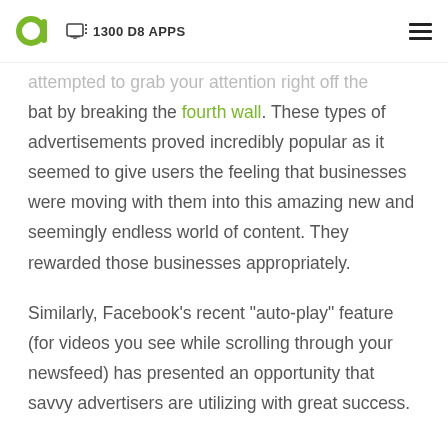D8 Apps logo | 1300 D8 APPS | hamburger menu
attempted to grab your attention right off the bat by breaking the fourth wall. These types of advertisements proved incredibly popular as it seemed to give users the feeling that businesses were moving with them into this amazing new and seemingly endless world of content. They rewarded those businesses appropriately.
Similarly, Facebook’s recent “auto-play” feature (for videos you see while scrolling through your newsfeed) has presented an opportunity that savvy advertisers are utilizing with great success.